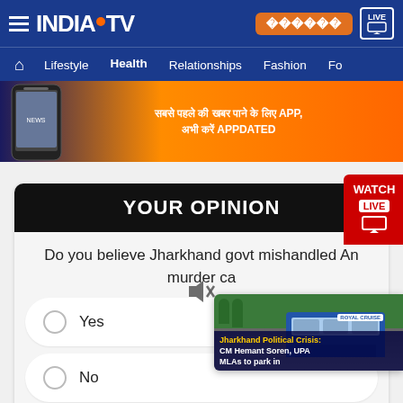[Figure (screenshot): India TV website header with logo, navigation bar showing Health selected, orange app promotion banner, and an opinion poll section asking about Jharkhand government mishandling a murder case with Yes/No/Can't say options showing 1304 votes. A Watch Live overlay and news popup about Jharkhand Political Crisis are visible.]
INDIA TV - Lifestyle | Health | Relationships | Fashion
YOUR OPINION
Do you believe Jharkhand govt mishandled An murder ca
Yes
No
Can't say
1304 Votes